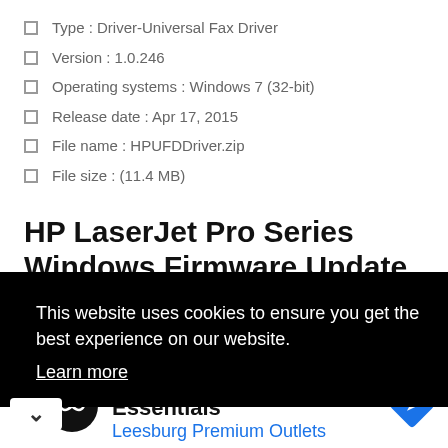Type : Driver-Universal Fax Driver
Version : 1.0.246
Operating systems : Windows 7 (32-bit)
Release date : Apr 17, 2015
File name : HPUFDDriver.zip
File size : (11.4 MB)
HP LaserJet Pro Series Windows Firmware Update Utility
This website uses cookies to ensure you get the best experience on our website. Learn more
[Figure (other): Advertisement banner: Back To School Essentials - Leesburg Premium Outlets with logo icons]